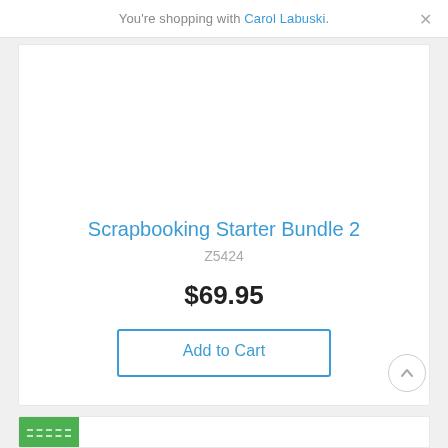You’re shopping with Carol Labuski.
Scrapbooking Starter Bundle 2
Z5424
$69.95
Add to Cart